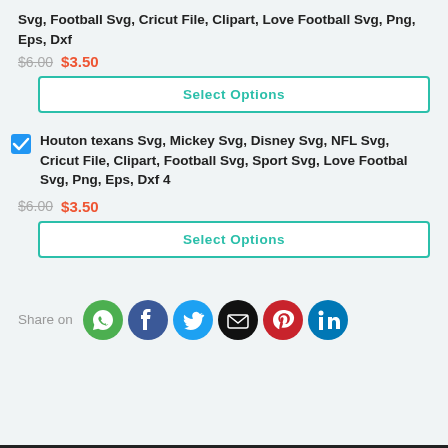Svg, Football Svg, Cricut File, Clipart, Love Football Svg, Png, Eps, Dxf
$6.00  $3.50
Select Options
Houton texans Svg, Mickey Svg, Disney Svg, NFL Svg, Cricut File, Clipart, Football Svg, Sport Svg, Love Footbal Svg, Png, Eps, Dxf 4
$6.00  $3.50
Select Options
Share on